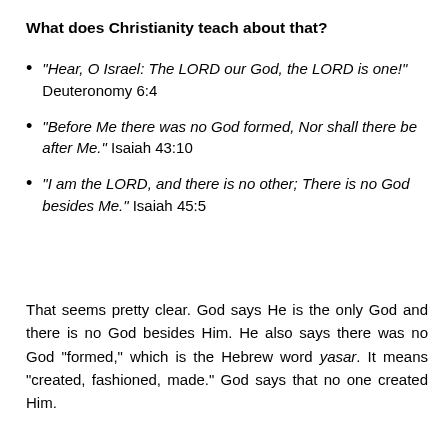What does Christianity teach about that?
“Hear, O Israel: The LORD our God, the LORD is one!” Deuteronomy 6:4
“Before Me there was no God formed, Nor shall there be after Me.” Isaiah 43:10
“I am the LORD, and there is no other; There is no God besides Me.” Isaiah 45:5
That seems pretty clear. God says He is the only God and there is no God besides Him. He also says there was no God “formed,” which is the Hebrew word yasar. It means “created, fashioned, made.” God says that no one created Him.